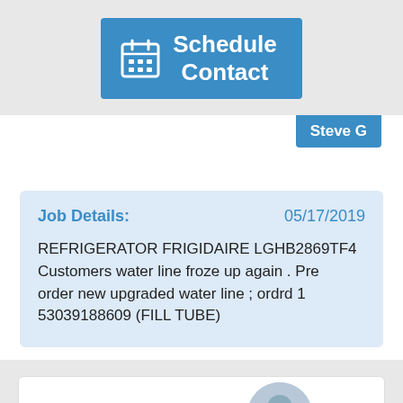[Figure (screenshot): Blue 'Schedule Contact' button with calendar icon]
Steve G
Job Details: 05/17/2019
REFRIGERATOR FRIGIDAIRE LGHB2869TF4 Customers water line froze up again . Pre order new upgraded water line ; ordrd 1 53039188609 (FILL TUBE)
Near Greenville, OH